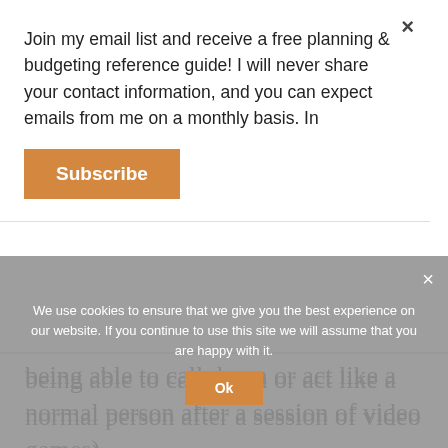[Figure (screenshot): Email subscribe popup overlay with orange Subscribe button and close X button. Text reads: 'Join my email list and receive a free planning & budgeting reference guide! I will never share your contact information, and you can expect emails from me on a monthly basis. In']
being able to call down or act like a normal person after a session of video games).
They were not thrilled, but thankfully seemed to take it as something non-negotiable.
During the pandemic, we got into the habit of letting them play for some time in
[Figure (screenshot): Cookie consent banner overlay (gray background). Text: 'We use cookies to ensure that we give you the best experience on our website. If you continue to use this site we will assume that you are happy with it.' With an OK button and close X.]